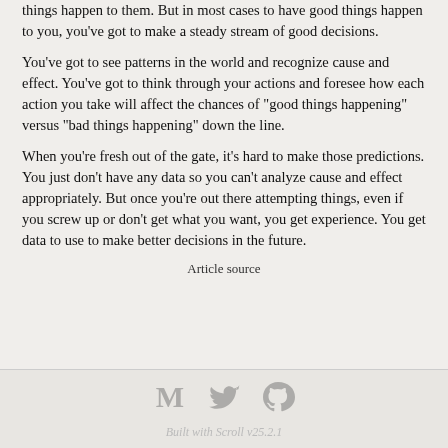things happen to them. But in most cases to have good things happen to you, you've got to make a steady stream of good decisions.
You've got to see patterns in the world and recognize cause and effect. You've got to think through your actions and foresee how each action you take will affect the chances of "good things happening" versus "bad things happening" down the line.
When you're fresh out of the gate, it's hard to make those predictions. You just don't have any data so you can't analyze cause and effect appropriately. But once you're out there attempting things, even if you screw up or don't get what you want, you get experience. You get data to use to make better decisions in the future.
Article source
Built with Scroll v25.2.1